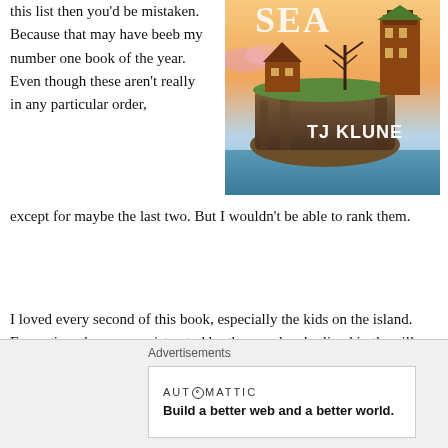this list then you'd be mistaken. Because that may have beeb my number one book of the year. Even though these aren't really in any particular order, except for maybe the last two. But I wouldn't be able to rank them.
[Figure (illustration): Book cover of a TJ Klune novel showing floating island with buildings and a tree, 'SEA' visible as part of title, ocean and pink sky in background, author name 'TJ KLUNE' at bottom right]
I loved every second of this book, especially the kids on the island. Every time they were mistreated by the people who lived in the village, I felt personally attacked.
Advertisements
[Figure (logo): Automattic advertisement banner with logo and text: Build a better web and a better world.]